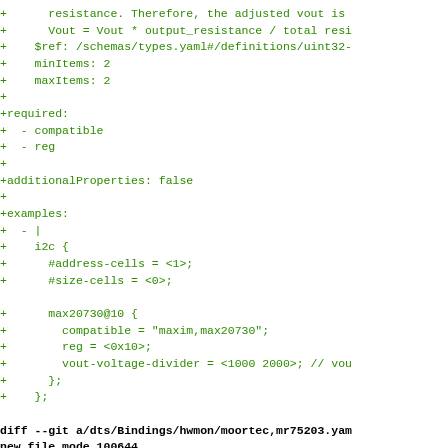Code diff showing YAML schema additions and git diff header for dts/Bindings/hwmon/moortec,mr75203.yaml